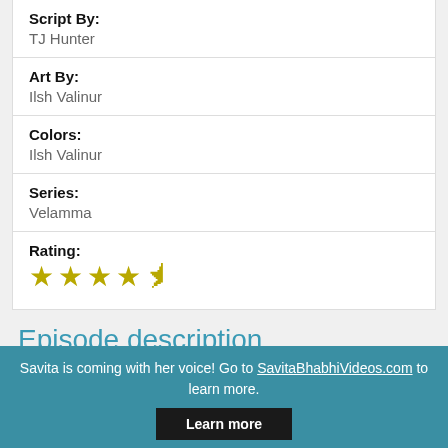Script By:
TJ Hunter
Art By:
Ilsh Valinur
Colors:
Ilsh Valinur
Series:
Velamma
Rating: ★★★★½
Episode description
Savita is coming with her voice! Go to SavitaBhabhiVideos.com to learn more.
Learn more